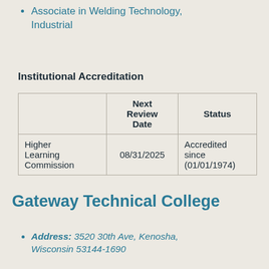Associate in Welding Technology, Industrial
Institutional Accreditation
|  | Next Review Date | Status |
| --- | --- | --- |
| Higher Learning Commission | 08/31/2025 | Accredited since (01/01/1974) |
Gateway Technical College
Address: 3520 30th Ave, Kenosha, Wisconsin 53144-1690